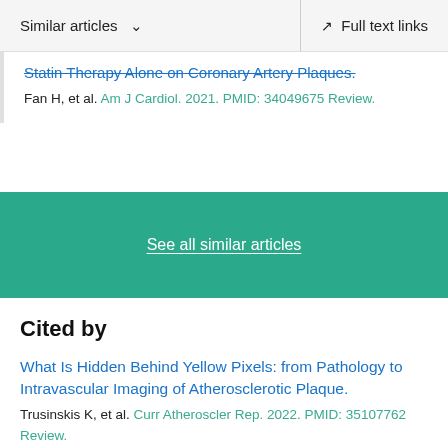Similar articles ∨  Full text links
Statin Therapy Alone on Coronary Artery Plaques.
Fan H, et al. Am J Cardiol. 2021. PMID: 34049675 Review.
See all similar articles
Cited by
What Is Hidden Behind Yellow Pixels: from Pathology to Intravascular Imaging of Atherosclerotic Plaque.
Trusinskis K, et al. Curr Atheroscler Rep. 2022. PMID: 35107762 Review.
The impact of lipid-lowering medications on